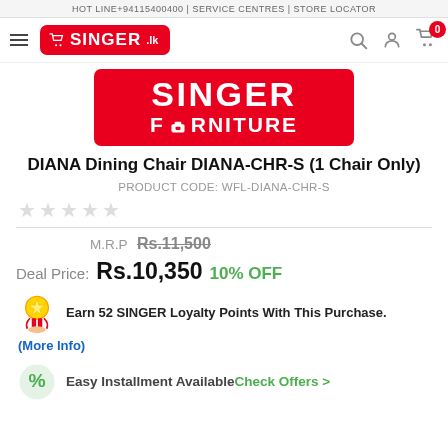HOT LINE+94115400400 | SERVICE CENTRES | STORE LOCATOR
[Figure (logo): Singer.lk navigation bar with hamburger menu, Singer logo in red, search icon, user icon, and cart icon with 0 badge]
[Figure (logo): Singer Furniture banner in red with white text: SINGER FURNITURE]
DIANA Dining Chair DIANA-CHR-S (1 Chair Only)
PRODUCT CODE: WFL-DIANA-CHR-S
★★★★★ (empty stars)
M.R.P Rs.11,500
Deal Price: Rs.10,350 10% OFF
Earn 52 SINGER Loyalty Points With This Purchase.
(More Info)
Easy Installment Available Check Offers >